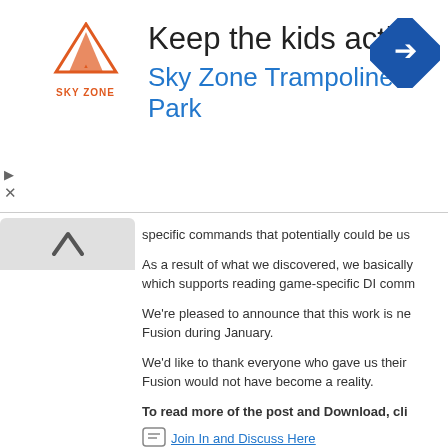[Figure (advertisement): Sky Zone Trampoline Park advertisement banner with logo, headline 'Keep the kids active.' and subline 'Sky Zone Trampoline Park', blue diamond direction icon on right, play and close controls on left bottom]
specific commands that potentially could be us
As a result of what we discovered, we basically which supports reading game-specific DI comm
We're pleased to announce that this work is ne Fusion during January.
We'd like to thank everyone who gave us their Fusion would not have become a reality.
To read more of the post and Download, cli
Join In and Discuss Here
Submit News and Releases Here and Contact
Inside The Machine 2 - WIF
January 11th, 2010, 23:23 Posted By: wraggs
News via http://www.nintendomax.com/viewto